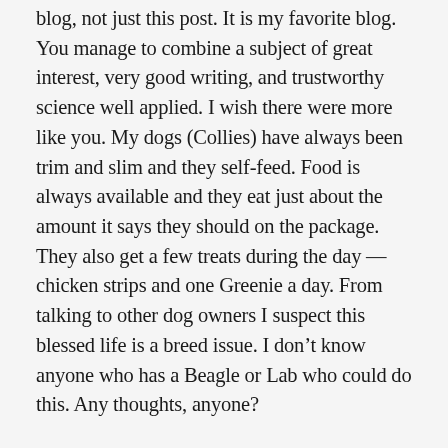blog, not just this post. It is my favorite blog. You manage to combine a subject of great interest, very good writing, and trustworthy science well applied. I wish there were more like you. My dogs (Collies) have always been trim and slim and they self-feed. Food is always available and they eat just about the amount it says they should on the package. They also get a few treats during the day — chicken strips and one Greenie a day. From talking to other dog owners I suspect this blessed life is a breed issue. I don't know anyone who has a Beagle or Lab who could do this. Any thoughts, anyone?